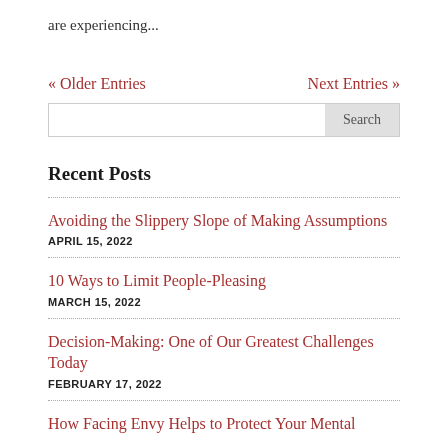are experiencing...
« Older Entries    Next Entries »
Recent Posts
Avoiding the Slippery Slope of Making Assumptions
APRIL 15, 2022
10 Ways to Limit People-Pleasing
MARCH 15, 2022
Decision-Making: One of Our Greatest Challenges Today
FEBRUARY 17, 2022
How Facing Envy Helps to Protect Your Mental...